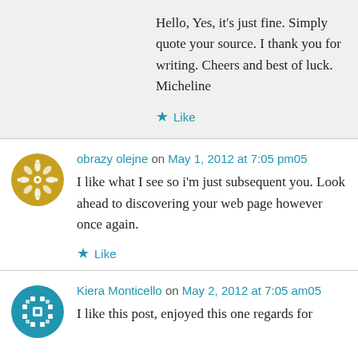Hello, Yes, it's just fine. Simply quote your source. I thank you for writing. Cheers and best of luck. Micheline
Like
obrazy olejne on May 1, 2012 at 7:05 pm05
I like what I see so i'm just subsequent you. Look ahead to discovering your web page however once again.
Like
Kiera Monticello on May 2, 2012 at 7:05 am05
I like this post, enjoyed this one regards for